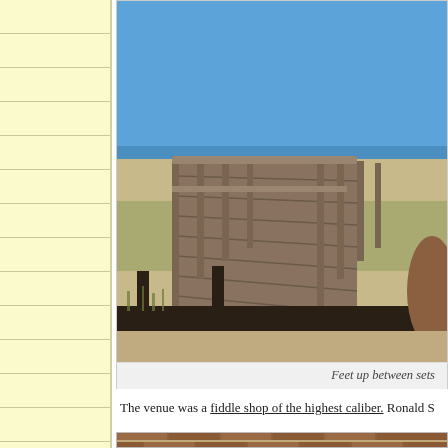[Figure (photo): Outdoor wooden boardwalk with railings extending toward a beach and ocean, with blue sky above and sand dunes with grass below. A dark wooden rail is in the foreground.]
Feet up between sets
The venue was a fiddle shop of the highest caliber. Ronald S
[Figure (photo): Partial view of a brick wall structure, visible at the bottom of the page.]